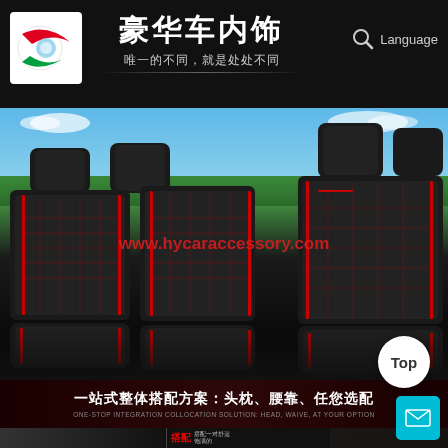[Figure (screenshot): Chinese car interior accessory website header with logo, Chinese title '豪华车内饰' (Luxury Car Interior), subtitle '唯一的不同，就是处处不同', search icon, and Language link]
豪华车内饰
唯一的不同，就是处处不同
Language
[Figure (photo): Black leather car seat covers with red stitching and diamond pattern displayed on car seats with sky and trees in background. Watermark: www.hycaraccessory.com]
www.hycaraccessory.com
一站式整体搭配方案：头枕、腰靠、任您选配
ONE-STOP INTEGRATION COLLOCATION SOLUTION: HEAD, WAIVE, AT YOUR OPTION
搭配
搭配一对舒运饱满的